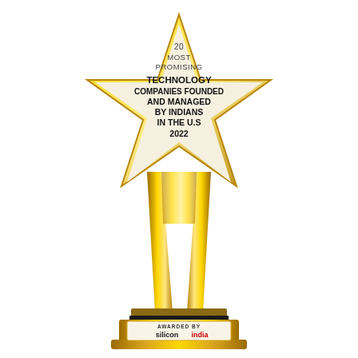[Figure (illustration): A gold trophy award in the shape of a star on a pedestal. The star contains text reading '20 MOST PROMISING TECHNOLOGY COMPANIES FOUNDED AND MANAGED BY INDIANS IN THE U.S 2022'. The base of the trophy shows 'AWARDED BY siliconindia' with the siliconindia logo in black and red text.]